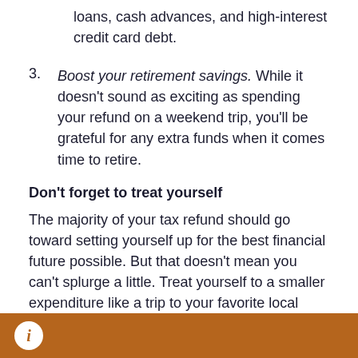that describe the highest interest rates, like payday loans, cash advances, and high-interest credit card debt.
3. Boost your retirement savings. While it doesn't sound as exciting as spending your refund on a weekend trip, you'll be grateful for any extra funds when it comes time to retire.
Don't forget to treat yourself
The majority of your tax refund should go toward setting yourself up for the best financial future possible. But that doesn't mean you can't splurge a little. Treat yourself to a smaller expenditure like a trip to your favorite local restaurant. Or buy yourself something you need, like a new
i